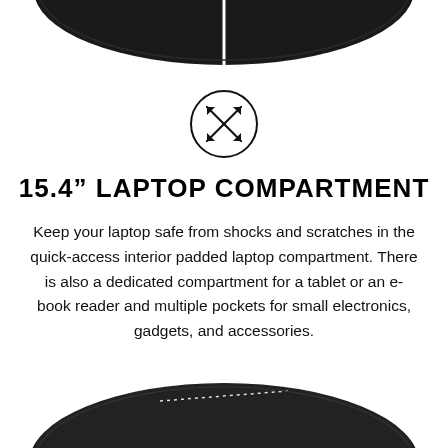[Figure (photo): Partial view of a dark/black backpack or bag from above, showing zipper and fabric detail]
[Figure (illustration): Circle icon with four diagonal expand/resize arrows pointing outward from center]
15.4" LAPTOP COMPARTMENT
Keep your laptop safe from shocks and scratches in the quick-access interior padded laptop compartment. There is also a dedicated compartment for a tablet or an e-book reader and multiple pockets for small electronics, gadgets, and accessories.
[Figure (photo): Partial view of a dark backpack from below, showing zipper and stitching detail]